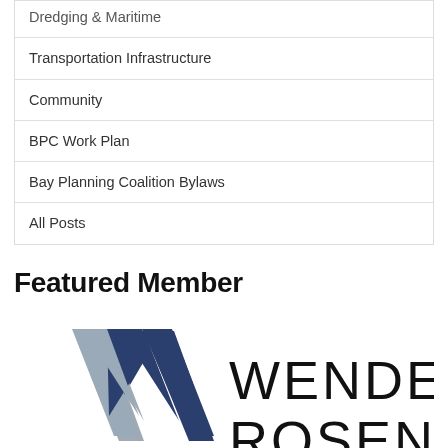Dredging & Maritime
Transportation Infrastructure
Community
BPC Work Plan
Bay Planning Coalition Bylaws
All Posts
Featured Member
[Figure (logo): Wendel Rosen law firm logo with stylized W mark in gray and dark navy blue, next to 'WENDEL ROSEN' text in thin uppercase letters]